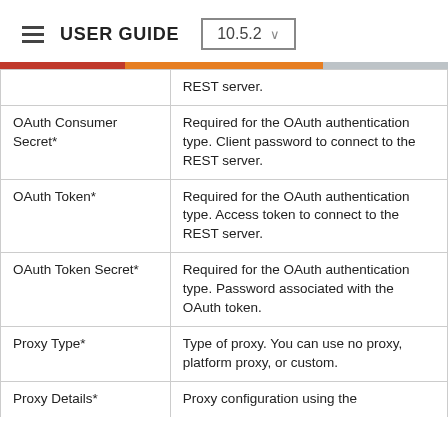USER GUIDE  10.5.2
| Field | Description |
| --- | --- |
|  | REST server. |
| OAuth Consumer Secret* | Required for the OAuth authentication type. Client password to connect to the REST server. |
| OAuth Token* | Required for the OAuth authentication type. Access token to connect to the REST server. |
| OAuth Token Secret* | Required for the OAuth authentication type. Password associated with the OAuth token. |
| Proxy Type* | Type of proxy. You can use no proxy, platform proxy, or custom. |
| Proxy Details* | Proxy configuration using the ... |